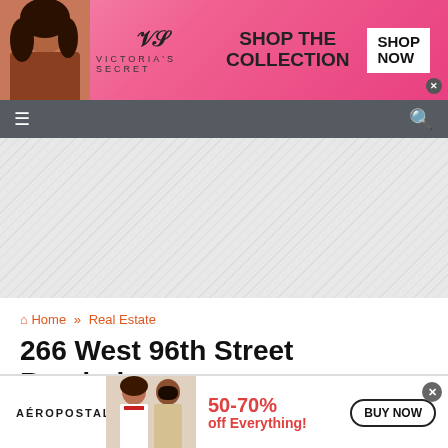[Figure (screenshot): Victoria's Secret advertisement banner with pink background, model on left, VS logo, 'SHOP THE COLLECTION' text, and 'SHOP NOW' button]
[Figure (screenshot): Website navigation bar with dark gray background, hamburger menu icon on left and search icon on right]
[Figure (screenshot): Gray hatched placeholder/ad space area]
Home » Real Estate
266 West 96th Street Renderings
[Figure (screenshot): Aeropostale advertisement banner with models, '50-70% off Everything!' text and 'BUY NOW' button]